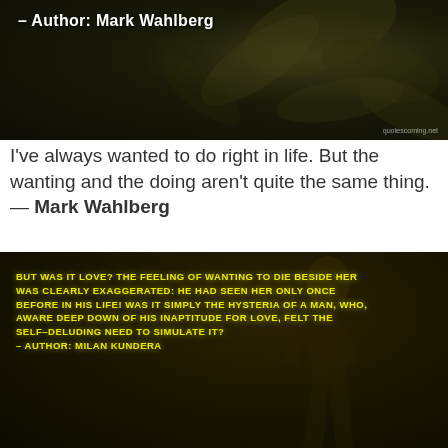[Figure (photo): Dark background with leaves, white bold text reading '– Author: Mark Wahlberg' and watermark 'quotescoming.net']
I've always wanted to do right in life. But the wanting and the doing aren't quite the same thing. — Mark Wahlberg
[Figure (photo): Dark moody background with person silhouette, yellow glowing uppercase text: 'BUT WAS IT LOVE? THE FEELING OF WANTING TO DIE BESIDE HER WAS CLEARLY EXAGGERATED: HE HAD SEEN HER ONLY ONCE BEFORE IN HIS LIFE! WAS IT SIMPLY THE HYSTERIA OF A MAN, WHO, AWARE DEEP DOWN OF HIS INAPTITUDE FOR LOVE, FELT THE SELF–DELUDING NEED TO SIMULATE IT? – AUTHOR: MILAN KUNDERA']